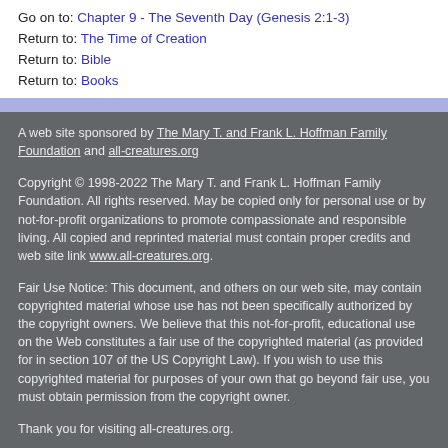Go on to: Chapter 9 - The Seventh Day (Genesis 2:1-3)
Return to: The Time of Creation
Return to: Bible
Return to: Books
A web site sponsored by The Mary T. and Frank L. Hoffman Family Foundation and all-creatures.org
Copyright © 1998-2022 The Mary T. and Frank L. Hoffman Family Foundation. All rights reserved. May be copied only for personal use or by not-for-profit organizations to promote compassionate and responsible living. All copied and reprinted material must contain proper credits and web site link www.all-creatures.org.
Fair Use Notice: This document, and others on our web site, may contain copyrighted material whose use has not been specifically authorized by the copyright owners. We believe that this not-for-profit, educational use on the Web constitutes a fair use of the copyrighted material (as provided for in section 107 of the US Copyright Law). If you wish to use this copyrighted material for purposes of your own that go beyond fair use, you must obtain permission from the copyright owner.
Thank you for visiting all-creatures.org.